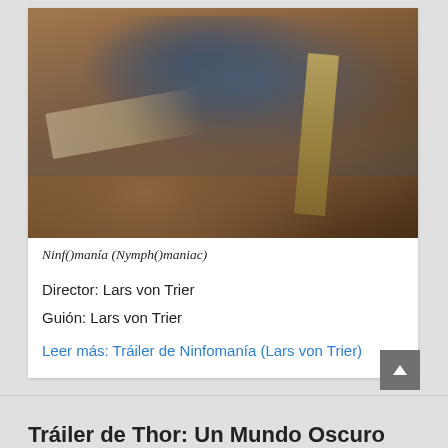[Figure (photo): Woman in a blue/grey dress lying face-down on a brown leather sofa with hands bound by rope, a strap across her back, from the film Ninfomanía (Nymph()maniac)]
Ninf()manía (Nymph()maniac)
Director: Lars von Trier
Guión: Lars von Trier
Leer más: Tráiler de Ninfomanía (Lars von Trier)
Tráiler de Thor: Un Mundo Oscuro